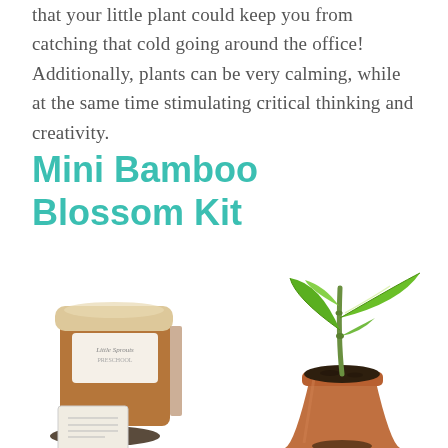that your little plant could keep you from catching that cold going around the office! Additionally, plants can be very calming, while at the same time stimulating critical thinking and creativity.
Mini Bamboo Blossom Kit
[Figure (photo): Photo of a Mini Bamboo Blossom Kit showing a terracotta pot with a green bamboo seedling growing out of dark soil, alongside a branded brown cardboard box labeled 'Little Sprouts Preschool' and a small packet of seeds with some soil spilled in front.]